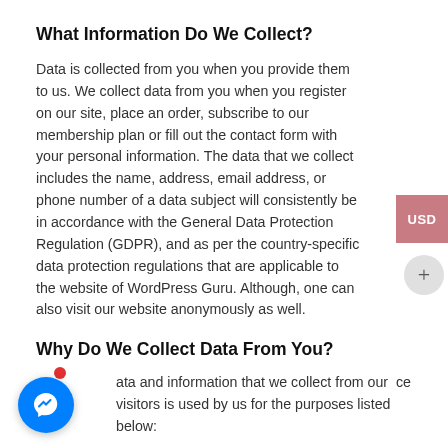What Information Do We Collect?
Data is collected from you when you provide them to us. We collect data from you when you register on our site, place an order, subscribe to our membership plan or fill out the contact form with your personal information. The data that we collect includes the name, address, email address, or phone number of a data subject will consistently be in accordance with the General Data Protection Regulation (GDPR), and as per the country-specific data protection regulations that are applicable to the website of WordPress Guru. Although, one can also visit our website anonymously as well.
Why Do We Collect Data From You?
ata and information that we collect from our ce visitors is used by us for the purposes listed below: